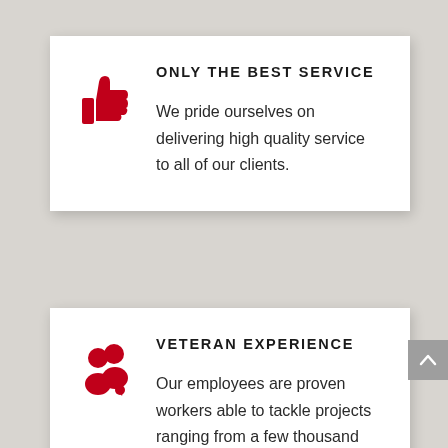[Figure (illustration): Red thumbs-up icon]
ONLY THE BEST SERVICE
We pride ourselves on delivering high quality service to all of our clients.
[Figure (illustration): Red group/people icon with speech bubble]
VETERAN EXPERIENCE
Our employees are proven workers able to tackle projects ranging from a few thousand